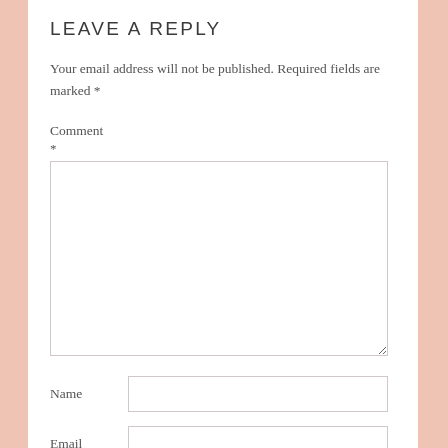LEAVE A REPLY
Your email address will not be published. Required fields are marked *
Comment *
Name
Email